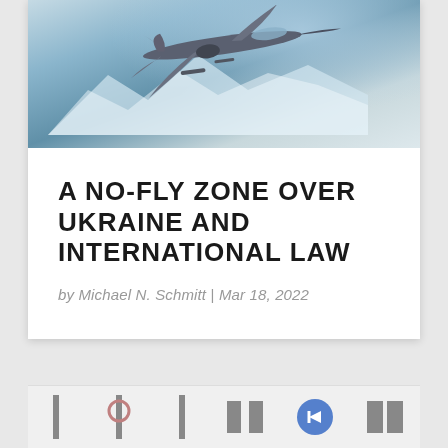[Figure (photo): Fighter jet aircraft flying over snowy mountainous terrain, viewed from the side with blue sky background]
A NO-FLY ZONE OVER UKRAINE AND INTERNATIONAL LAW
by Michael N. Schmitt | Mar 18, 2022
[Figure (other): Row of small icon images at the bottom of the page including social/navigation icons]